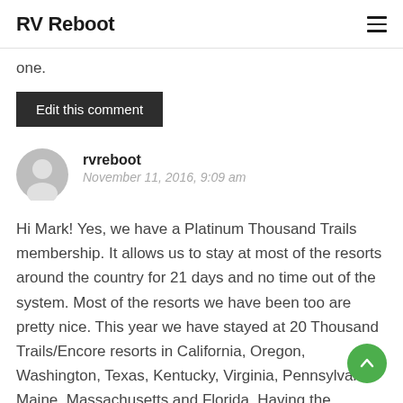RV Reboot
one.
Edit this comment
rvreboot
November 11, 2016, 9:09 am
Hi Mark! Yes, we have a Platinum Thousand Trails membership. It allows us to stay at most of the resorts around the country for 21 days and no time out of the system. Most of the resorts we have been too are pretty nice. This year we have stayed at 20 Thousand Trails/Encore resorts in California, Oregon, Washington, Texas, Kentucky, Virginia, Pennsylvania Maine, Massachusetts and Florida. Having the membership has saved us a ton of money and it has